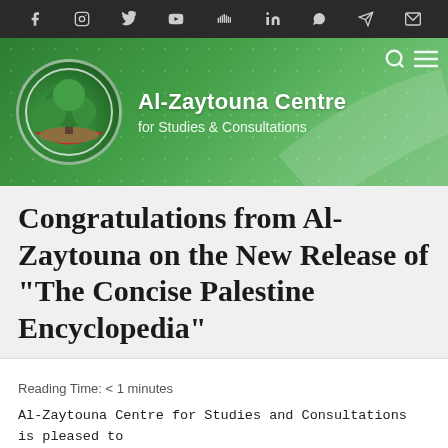[Figure (screenshot): Social media icon bar (dark background) with icons for Facebook, Instagram, Twitter, YouTube, SoundCloud, LinkedIn, WhatsApp, Telegram, Email]
[Figure (logo): Al-Zaytouna Centre for Studies & Consultations green banner header with circular tree logo on the left and organisation name on the right, search and menu icons top-right]
Congratulations from Al-Zaytouna on the New Release of “The Concise Palestine Encyclopedia”
Reading Time: < 1 minutes
Al-Zaytouna Centre for Studies and Consultations is pleased to